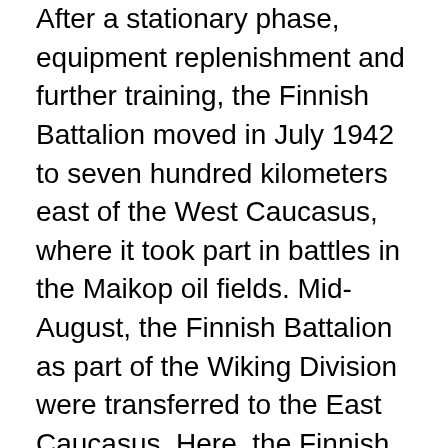After a stationary phase, equipment replenishment and further training, the Finnish Battalion moved in July 1942 to seven hundred kilometers east of the West Caucasus, where it took part in battles in the Maikop oil fields. Mid-August, the Finnish Battalion as part of the Wiking Division were transferred to the East Caucasus. Here, the Finnish Battalion participated in breakthrough attempts to take over the Baku oil fields. The battalion excelled in the East Caucasus region in so-called Terek river bend 's heavy battles, but the losses were also great.
In the summer of 1942, as a result of repatriations and increased losses, the German authorities asked Finland to send 300 more men to the battalion. The Finns accepted the request by sending 201 men to Germany in the autumn of 1942. The men were recruited directly from the combat units. After a short